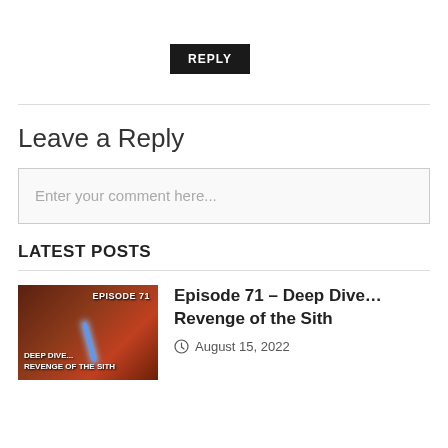REPLY
Leave a Reply
Enter your comment here...
LATEST POSTS
[Figure (photo): Thumbnail image for Episode 71 - Deep Dive... Revenge of the Sith podcast episode, showing a Star Wars scene with a lightsaber]
Episode 71 – Deep Dive… Revenge of the Sith
August 15, 2022